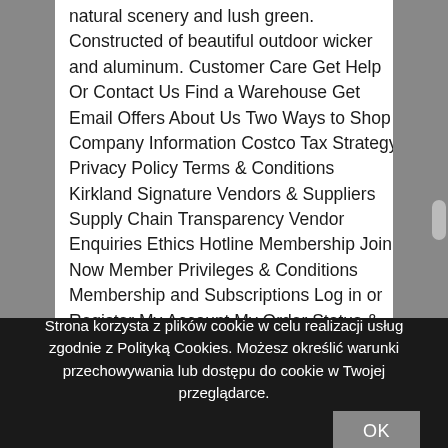natural scenery and lush green. Constructed of beautiful outdoor wicker and aluminum. Customer Care Get Help Or Contact Us Find a Warehouse Get Email Offers About Us Two Ways to Shop Company Information Costco Tax Strategy Privacy Policy Terms & Conditions Kirkland Signature Vendors & Suppliers Supply Chain Transparency Vendor Enquiries Ethics Hotline Membership Join Now Member Privileges & Conditions Membership and Subscriptions Log in or Register My Account My Order Status & History My Wishlist Volume Sales Customer Care Help and Support Payment & Refunds Your Rights to Cancellations, Returns & Refunds Delivery & Tracking Product Notices Preventing Fraud Concierge Technical Support Warehouses
Strona korzysta z plików cookie w celu realizacji usług zgodnie z Polityką Cookies. Możesz określić warunki przechowywania lub dostępu do cookie w Twojej przeglądarce.